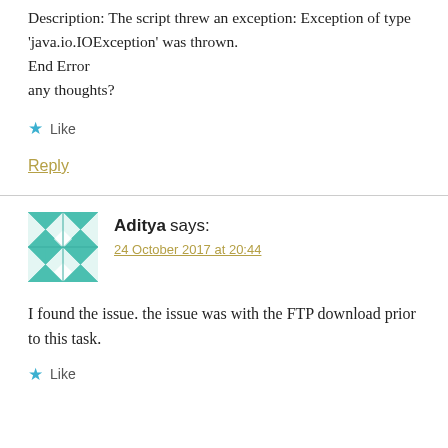Description: The script threw an exception: Exception of type 'java.io.IOException' was thrown.
End Error
any thoughts?
★ Like
Reply
Aditya says:
24 October 2017 at 20:44
I found the issue. the issue was with the FTP download prior to this task.
★ Like